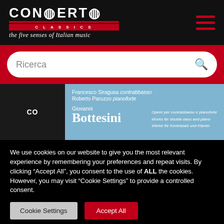CONCERTO CLASSICS — the five senses of Italian music
[Figure (screenshot): Album cover showing performers Francesco Siragusa on contrabasso and Roberto Paruzzo on pianoforte, featuring Giovanni Bottesini works for double-bass and piano]
We use cookies on our website to give you the most relevant experience by remembering your preferences and repeat visits. By clicking “Accept All”, you consent to the use of ALL the cookies. However, you may visit "Cookie Settings" to provide a controlled consent.
Cookie Settings
Accept All